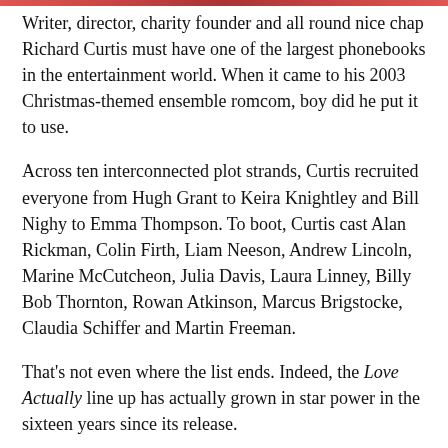Writer, director, charity founder and all round nice chap Richard Curtis must have one of the largest phonebooks in the entertainment world. When it came to his 2003 Christmas-themed ensemble romcom, boy did he put it to use.
Across ten interconnected plot strands, Curtis recruited everyone from Hugh Grant to Keira Knightley and Bill Nighy to Emma Thompson. To boot, Curtis cast Alan Rickman, Colin Firth, Liam Neeson, Andrew Lincoln, Marine McCutcheon, Julia Davis, Laura Linney, Billy Bob Thornton, Rowan Atkinson, Marcus Brigstocke, Claudia Schiffer and Martin Freeman.
That's not even where the list ends. Indeed, the Love Actually line up has actually grown in star power in the sixteen years since its release.
Advertisements